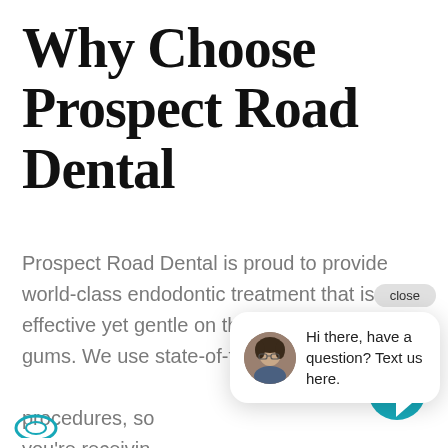Why Choose Prospect Road Dental
Prospect Road Dental is proud to provide world-class endodontic treatment that is effective yet gentle on the teeth and gums. We use state-of-th[e-art technology in all procedures, so you're receiving[...] experienced team.
[Figure (screenshot): Chat popup widget showing a close button, avatar photo of a woman, and the message 'Hi there, have a question? Text us here.' with a teal chat bubble button in the bottom right corner.]